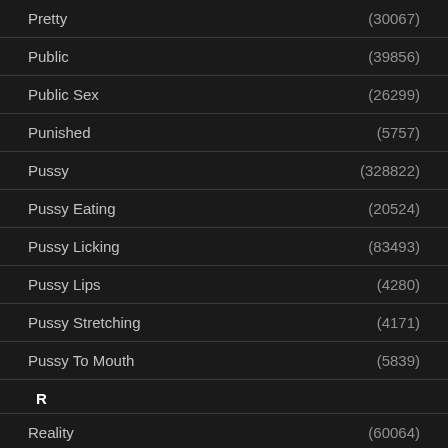Pretty (30067)
Public (39856)
Public Sex (26299)
Punished (5757)
Pussy (328822)
Pussy Eating (20524)
Pussy Licking (83493)
Pussy Lips (4280)
Pussy Stretching (4171)
Pussy To Mouth (5839)
R
Reality (60064)